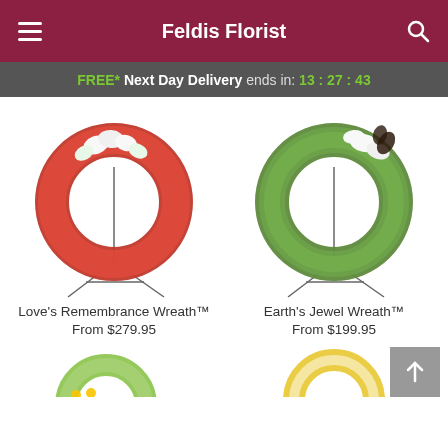Feldis Florist
FREE* Next Day Delivery ends in: 13:27:43
[Figure (photo): Red carnation wreath with white lilies on a metal easel stand - Love's Remembrance Wreath]
Love's Remembrance Wreath™
From $279.95
[Figure (photo): Green moss wreath with white lilies on a metal easel stand - Earth's Jewel Wreath]
Earth's Jewel Wreath™
From $199.95
[Figure (photo): Partial view of two wreaths at the bottom of the page]